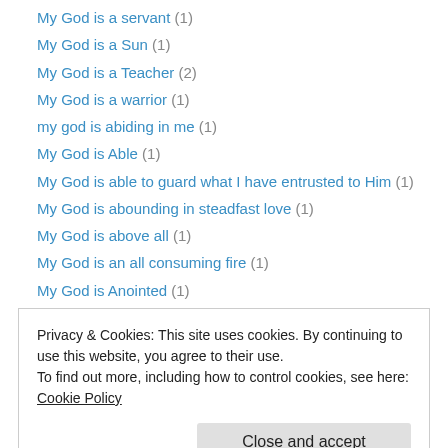My God is a servant (1)
My God is a Sun (1)
My God is a Teacher (2)
My God is a warrior (1)
my god is abiding in me (1)
My God is Able (1)
My God is able to guard what I have entrusted to Him (1)
My God is abounding in steadfast love (1)
My God is above all (1)
My God is an all consuming fire (1)
My God is Anointed (1)
My God is Answering (1)
My God is at hand (1)
Privacy & Cookies: This site uses cookies. By continuing to use this website, you agree to their use. To find out more, including how to control cookies, see here: Cookie Policy
My God is Cheering me up (1)